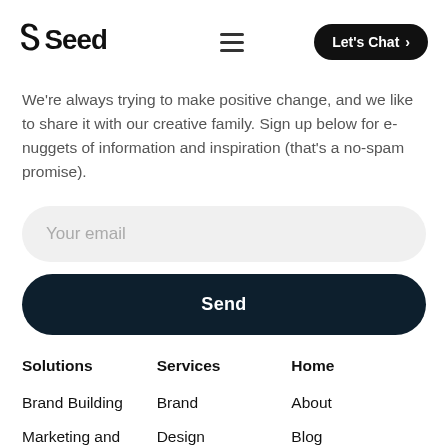Seed — Let's Chat
We're always trying to make positive change, and we like to share it with our creative family. Sign up below for e-nuggets of information and inspiration (that's a no-spam promise).
Your email
Send
Solutions
Services
Home
Brand Building
Brand
About
Marketing and Content Creation
Design
Blog